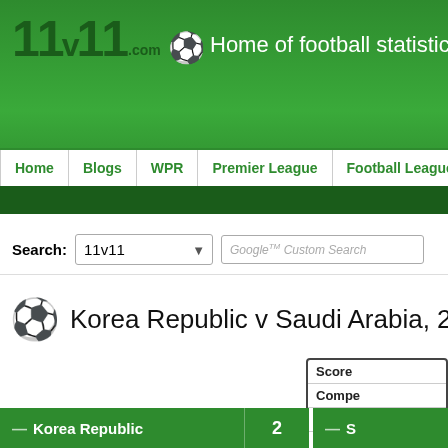11v11.com — Home of football statistics ar...
Home | Blogs | WPR | Premier League | Football League
Search: 11v11 [dropdown] Google Custom Search
Korea Republic v Saudi Arabia, 29...
| Field | Value |
| --- | --- |
| Score |  |
| Competition |  |
| Venue |  |
| Attendance |  |
— Korea Republic  2   — S...